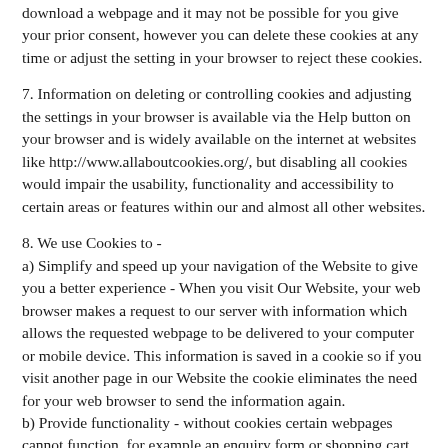download a webpage and it may not be possible for you give your prior consent, however you can delete these cookies at any time or adjust the setting in your browser to reject these cookies.
7. Information on deleting or controlling cookies and adjusting the settings in your browser is available via the Help button on your browser and is widely available on the internet at websites like http://www.allaboutcookies.org/, but disabling all cookies would impair the usability, functionality and accessibility to certain areas or features within our and almost all other websites.
8. We use Cookies to -
a) Simplify and speed up your navigation of the Website to give you a better experience - When you visit Our Website, your web browser makes a request to our server with information which allows the requested webpage to be delivered to your computer or mobile device. This information is saved in a cookie so if you visit another page in our Website the cookie eliminates the need for your web browser to send the information again.
b) Provide functionality - without cookies certain webpages cannot function, for example an enquiry form or shopping cart would not be capable of remembering what had been entered by you prior to sending the information to us.
c) Analyse the use of our website – We use a third party to generate statistics by recording the number of visits to a webpage, or clicks